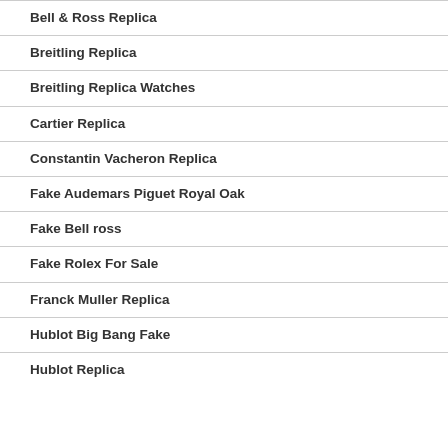Bell & Ross Replica
Breitling Replica
Breitling Replica Watches
Cartier Replica
Constantin Vacheron Replica
Fake Audemars Piguet Royal Oak
Fake Bell ross
Fake Rolex For Sale
Franck Muller Replica
Hublot Big Bang Fake
Hublot Replica